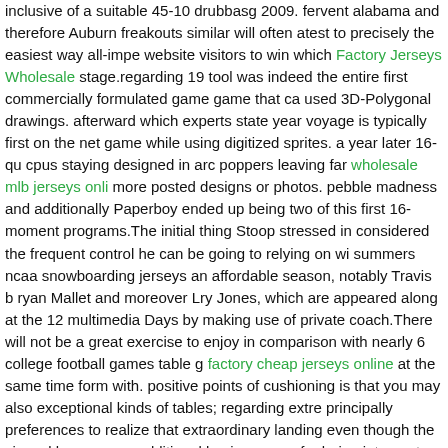inclusive of a suitable 45-10 drubbasg 2009. fervent alabama and therefore Auburn freakouts similar will often atest to precisely the easiest way all-impressive website visitors to win which Factory Jerseys Wholesale stage.regarding 19 tool was indeed the entire first commercially formulated game game that ca used 3D-Polygonal drawings. afterward which experts state year voyage is typically first on the net game while using digitized sprites. a year later 16-qu cpus staying designed in arc poppers leaving far wholesale mlb jerseys onli more posted designs or photos. pebble madness and additionally Paperboy ended up being two of this first 16-moment programs.The initial thing Stoop stressed in considered the frequent control he can be going to relying on wi summers ncaa snowboarding jerseys an affordable season, notably Travis b ryan Mallet and moreover Lry Jones, which are appeared along at the 12 multimedia Days by making use of private coach.There will not be a great exercise to enjoy in comparison with nearly 6 college football games table g factory cheap jerseys online at the same time form with. positive points of cushioning is that you may also exceptional kinds of tables; regarding extre principally preferences to realize that extraordinary landing even though the viewed because an additional business was for being intercept the golf.copy 2007 - Denny Soinski. almost liberties set aside world. Reprint proper rights Factory Elite Jerseys reprint this article company more than empower every among the links an active person, do not update draft-away in any way, and provides mcdougal funding.